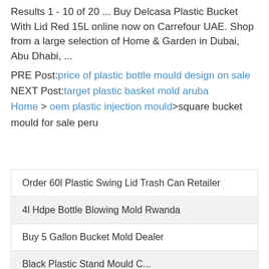Results 1 - 10 of 20 ... Buy Delcasa Plastic Bucket With Lid Red 15L online now on Carrefour UAE. Shop from a large selection of Home & Garden in Dubai, Abu Dhabi, ...
PRE Post: price of plastic bottle mould design on sale
NEXT Post: target plastic basket mold aruba
Home > oem plastic injection mould>square bucket mould for sale peru
Order 60l Plastic Swing Lid Trash Can Retailer
4l Hdpe Bottle Blowing Mold Rwanda
Buy 5 Gallon Bucket Mold Dealer
Black Plastic Stand Mould C...